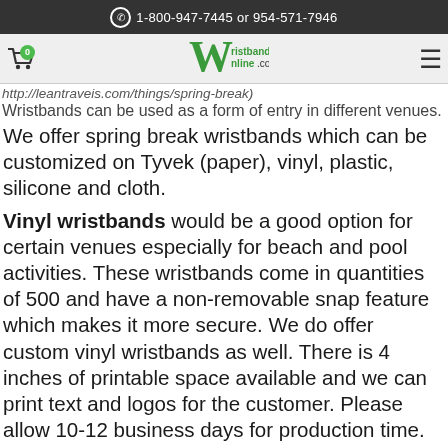1-800-947-7445 or 954-571-7946
http://leantraveis.com/things/spring-break)
Wristbands can be used as a form of entry in different venues.
[Figure (logo): Wristbands Online .com logo with stylized W in green]
We offer spring break wristbands which can be customized on Tyvek (paper), vinyl, plastic, silicone and cloth.
Vinyl wristbands would be a good option for certain venues especially for beach and pool activities. These wristbands come in quantities of 500 and have a non-removable snap feature which makes it more secure. We do offer custom vinyl wristbands as well. There is 4 inches of printable space available and we can print text and logos for the customer. Please allow 10-12 business days for production time.
Cloth wristbands would also be a good option for marketing purposes as well as cute little